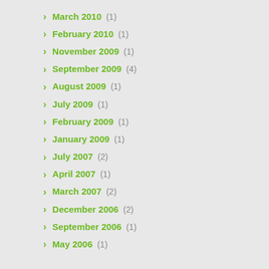March 2010 (1)
February 2010 (1)
November 2009 (1)
September 2009 (4)
August 2009 (1)
July 2009 (1)
February 2009 (1)
January 2009 (1)
July 2007 (2)
April 2007 (1)
March 2007 (2)
December 2006 (2)
September 2006 (1)
May 2006 (1)